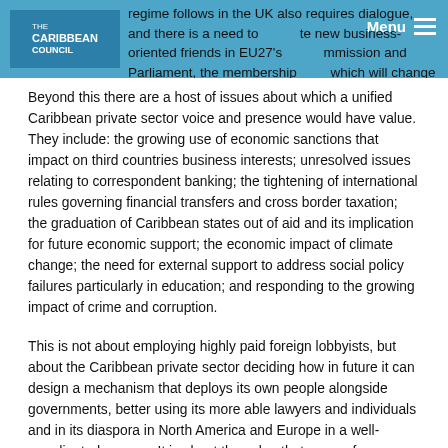regime follows in the UK also requires dialogue, and there is a need to cultivate new business-oriented friends in EU27's Commission and Parliament, the membership of which will change this year.
[Figure (logo): The Caribbean Council logo on a blue background with navigation menu]
Beyond this there are a host of issues about which a unified Caribbean private sector voice and presence would have value. They include: the growing use of economic sanctions that impact on third countries business interests; unresolved issues relating to correspondent banking; the tightening of international rules governing financial transfers and cross border taxation; the graduation of Caribbean states out of aid and its implication for future economic support; the economic impact of climate change; the need for external support to address social policy failures particularly in education; and responding to the growing impact of crime and corruption.
This is not about employing highly paid foreign lobbyists, but about the Caribbean private sector deciding how in future it can design a mechanism that deploys its own people alongside governments, better using its more able lawyers and individuals and in its diaspora in North America and Europe in a well-coordinated manner. It is about the value that comes from